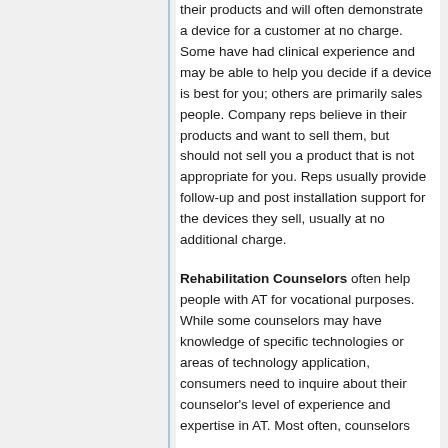their products and will often demonstrate a device for a customer at no charge. Some have had clinical experience and may be able to help you decide if a device is best for you; others are primarily sales people. Company reps believe in their products and want to sell them, but should not sell you a product that is not appropriate for you. Reps usually provide follow-up and post installation support for the devices they sell, usually at no additional charge.
Rehabilitation Counselors often help people with AT for vocational purposes. While some counselors may have knowledge of specific technologies or areas of technology application, consumers need to inquire about their counselor's level of experience and expertise in AT. Most often, counselors